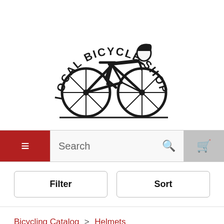[Figure (logo): Local Bicycle Shop logo: vintage illustration of a cyclist on a road bicycle with arched text reading LOCAL BICYCLE SHOP above]
≡  Search  🔍  🛒
Filter  Sort
Bicycling Catalog > Helmets